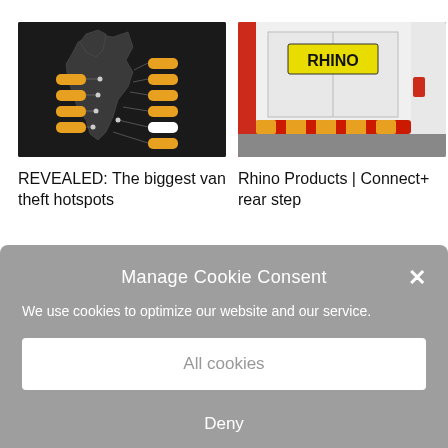[Figure (map): Dark UK map with orange hotspot markers and labels indicating van theft locations]
[Figure (photo): Rear view of white van with yellow number plate reading RHINO, showing red and yellow rear bumper protection bar]
REVEALED: The biggest van theft hotspots
Rhino Products | Connect+ rear step
Manage Cookie Consent
We use cookies to optimize our website and our service.
All cookies
Deny